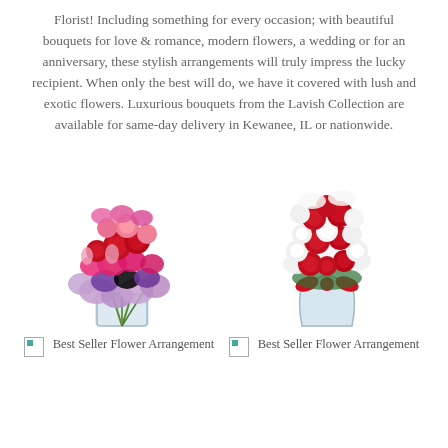Florist! Including something for every occasion; with beautiful bouquets for love & romance, modern flowers, a wedding or for an anniversary, these stylish arrangements will truly impress the lucky recipient. When only the best will do, we have it covered with lush and exotic flowers. Luxurious bouquets from the Lavish Collection are available for same-day delivery in Kewanee, IL or nationwide.
[Figure (photo): Colorful flower bouquet with pink, red, and purple flowers including roses and carnations in a clear glass vase]
[Figure (photo): Elegant red and white rose bouquet with greenery in a clear glass vase with red ribbon]
Best Seller Flower Arrangement
Best Seller Flower Arrangement